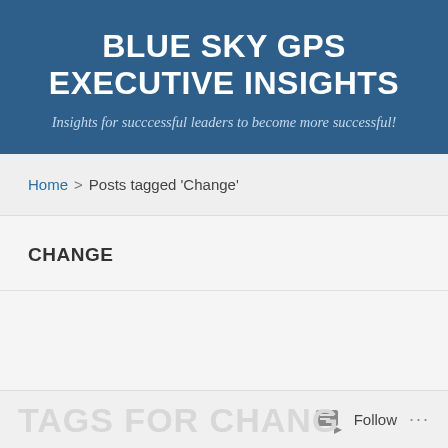BLUE SKY GPS EXECUTIVE INSIGHTS
Insights for succcessful leaders to become more successful!
Home > Posts tagged 'Change'
CHANGE
Follow ...